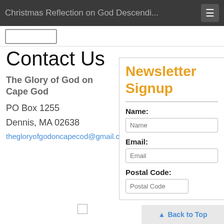Christmas Reflection on God Descendi...
Visit this group
Contact Us
The Glory of God on Cape God
PO Box 1255
Dennis, MA 02638
thegloryofgodoncapecod@gmail.com
Newsletter Signup
Name:
Email:
Postal Code:
Back to Top